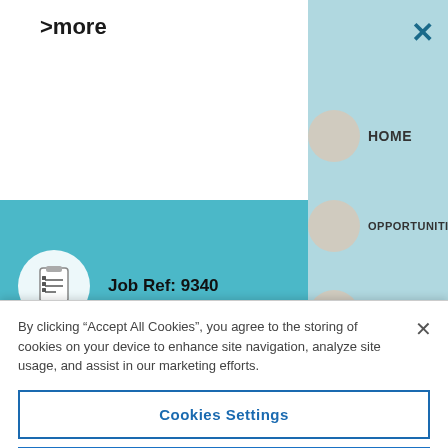>more
HOME
OPPORTUNITIES
SERVICES
Job Ref: 9340
Pittsburgh, PA
By clicking “Accept All Cookies”, you agree to the storing of cookies on your device to enhance site navigation, analyze site usage, and assist in our marketing efforts.
Cookies Settings
Reject All